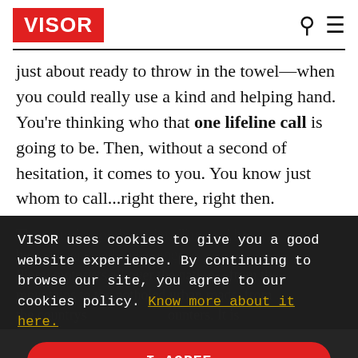VISOR
just about ready to throw in the towel—when you could really use a kind and helping hand. You're thinking who that one lifeline call is going to be. Then, without a second of hesitation, it comes to you. You know just whom to call...right there, right then.
VISOR uses cookies to give you a good website experience. By continuing to browse our site, you agree to our cookies policy. Know more about it here.
I AGREE